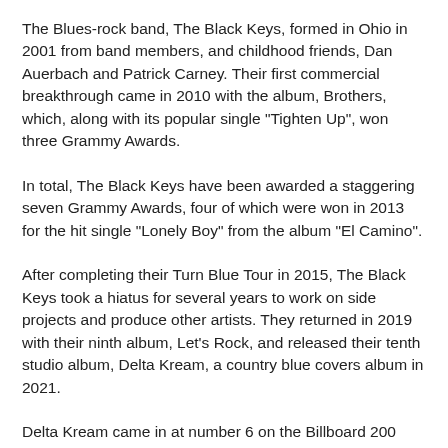The Blues-rock band, The Black Keys, formed in Ohio in 2001 from band members, and childhood friends, Dan Auerbach and Patrick Carney. Their first commercial breakthrough came in 2010 with the album, Brothers, which, along with its popular single "Tighten Up", won three Grammy Awards.
In total, The Black Keys have been awarded a staggering seven Grammy Awards, four of which were won in 2013 for the hit single "Lonely Boy" from the album "El Camino".
After completing their Turn Blue Tour in 2015, The Black Keys took a hiatus for several years to work on side projects and produce other artists. They returned in 2019 with their ninth album, Let's Rock, and released their tenth studio album, Delta Kream, a country blue covers album in 2021.
Delta Kream came in at number 6 on the Billboard 200 and number 1 on both the Top Alternative Albums and Top Rock Albums charts. The band said, "We made this record to honor the Mississippi hill country blues tradition that influenced us